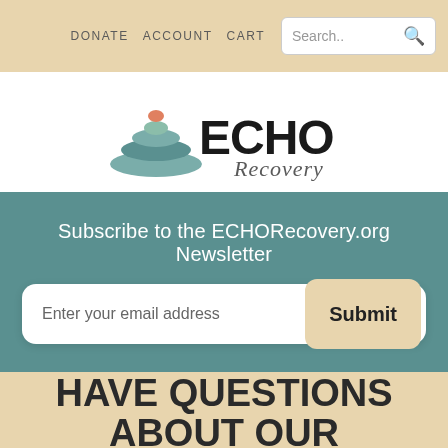DONATE  ACCOUNT  CART
[Figure (logo): ECHO Recovery logo with stacked stones and cursive 'Recovery' text]
Subscribe to the ECHORecovery.org Newsletter
Enter your email address  Submit
HAVE QUESTIONS ABOUT OUR FOUNDATION?